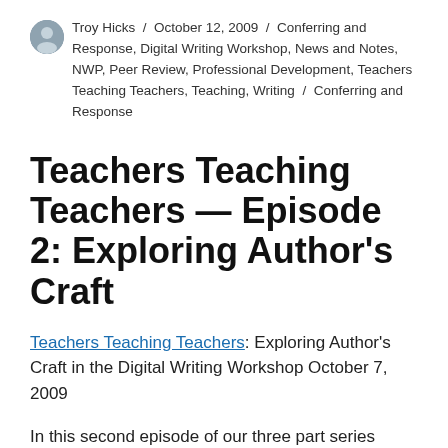Troy Hicks / October 12, 2009 / Conferring and Response, Digital Writing Workshop, News and Notes, NWP, Peer Review, Professional Development, Teachers Teaching Teachers, Teaching, Writing / Conferring and Response
Teachers Teaching Teachers — Episode 2: Exploring Author's Craft
Teachers Teaching Teachers: Exploring Author's Craft in the Digital Writing Workshop October 7, 2009
In this second episode of our three part series